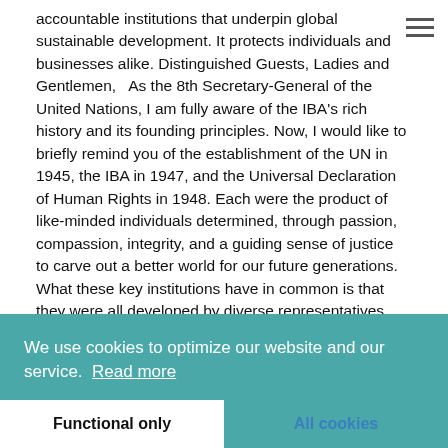accountable institutions that underpin global sustainable development. It protects individuals and businesses alike. Distinguished Guests, Ladies and Gentlemen,  As the 8th Secretary-General of the United Nations, I am fully aware of the IBA's rich history and its founding principles. Now, I would like to briefly remind you of the establishment of the UN in 1945, the IBA in 1947, and the Universal Declaration of Human Rights in 1948. Each were the product of like-minded individuals determined, through passion, compassion, integrity, and a guiding sense of justice to carve out a better world for our future generations. What these key institutions have in common is that they were all developed by diverse representatives with
ons of
d
e the
A.
ultural
, and
gender equality; it is clear that there is much work to be done,
[Figure (other): Cookie consent banner with teal background. Text: 'We use cookies to optimize our website and our service. Read more'. Two buttons: 'Functional only' (white background) and 'All cookies' (teal background, blue text).]